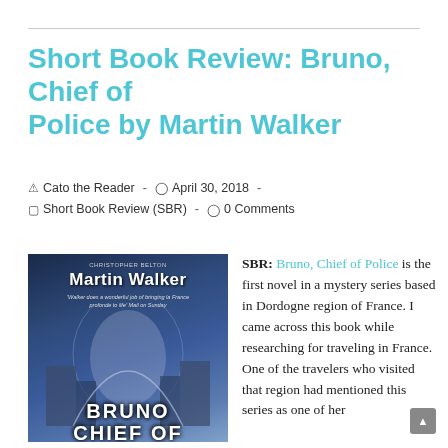Short Book Review: Bruno, Chief of Police by Martin Walker
Cato the Reader  -  April 30, 2018  -  Short Book Review (SBR)  -  0 Comments
[Figure (photo): Book cover of 'Bruno, Chief of Police' by Martin Walker. Dark blue-toned cover showing a stone archway in a French village. Author name 'Martin Walker' at top, quote from Mail on Sunday below, and 'BRUNO CHIEF OF' text at bottom.]
SBR: Bruno, Chief of Police is the first novel in a mystery series based in Dordogne region of France. I came across this book while researching for traveling in France. One of the travelers who visited that region had mentioned this series as one of her